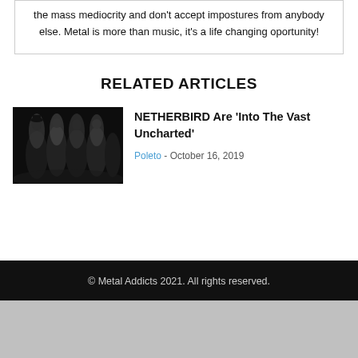the mass mediocrity and don't accept impostures from anybody else. Metal is more than music, it's a life changing oportunity!
RELATED ARTICLES
[Figure (photo): Dark band photo of Netherbird members in black and white]
NETHERBIRD Are ‘Into The Vast Uncharted’
Poleto - October 16, 2019
© Metal Addicts 2021. All rights reserved.